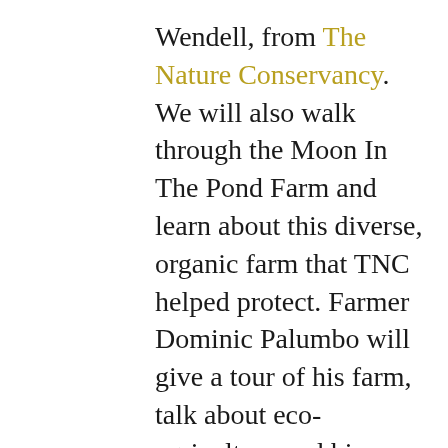Wendell, from The Nature Conservancy. We will also walk through the Moon In The Pond Farm and learn about this diverse, organic farm that TNC helped protect. Farmer Dominic Palumbo will give a tour of his farm, talk about eco-agriculture and his relationship with TNC. The farm store will be open for purchases. It will also be the height of fall bird migration. 4 hours–3 miles
To Register–rene.wendell@tnc.org or 413-923-3173
From Rt 7 in Sheffield center, turn